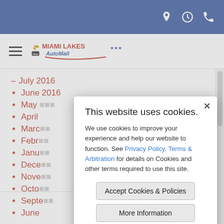Miami Lakes AutoMall website header with navigation icons (location, hours, phone)
[Figure (logo): Miami Lakes AutoMall logo with hamburger menu icon]
– July 2016
June 2016
May 2016
April 2016
March 2016
February 2016
January 2016
December
November
October
September
June
This website uses cookies. We use cookies to improve your experience and help our website to function. See Privacy Policy, Terms & Arbitration for details on Cookies and other terms required to use this site.
Accept Cookies & Policies
More Information
Privacy Policy